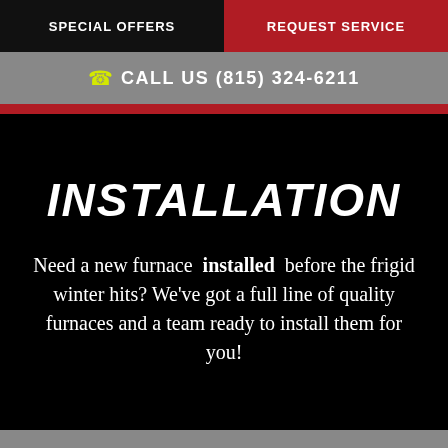SPECIAL OFFERS | REQUEST SERVICE
CALL US (815) 324-6211
INSTALLATION
Need a new furnace installed before the frigid winter hits? We've got a full line of quality furnaces and a team ready to install them for you!